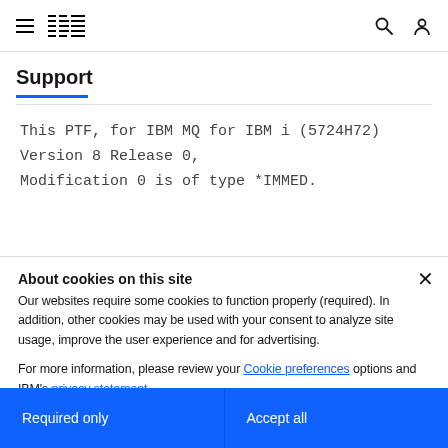IBM Support
Support
This PTF, for IBM MQ for IBM i (5724H72)
Version 8 Release 0,
Modification 0 is of type *IMMED.
About cookies on this site
Our websites require some cookies to function properly (required). In addition, other cookies may be used with your consent to analyze site usage, improve the user experience and for advertising.

For more information, please review your Cookie preferences options and IBM's privacy statement.